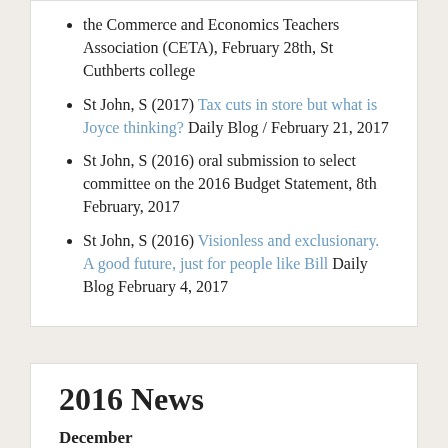the Commerce and Economics Teachers Association (CETA), February 28th, St Cuthberts college
St John, S (2017) Tax cuts in store but what is Joyce thinking? Daily Blog / February 21, 2017
St John, S (2016) oral submission to select committee on the 2016 Budget Statement, 8th February, 2017
St John, S (2016) Visionless and exclusionary. A good future, just for people like Bill Daily Blog February 4, 2017
2016 News
December
St John, S (2016) Shades of I, Daniel Blake, Daily